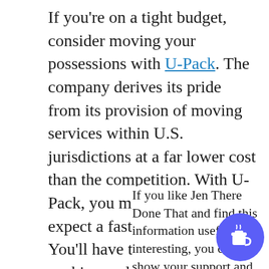If you're on a tight budget, consider moving your possessions with U-Pack. The company derives its pride from its provision of moving services within U.S. jurisdictions at a far lower cost than the competition. With U-Pack, you may be able to expect a faster move, too. You'll have to do all the packing and unpacking yourself, but U-Pack sells packing supplies to help, a[nd the movin[g...
If you like Jen There Done That and find this information useful or interesting, you can show your support and buy me a cup of coffee!
Some [...] to ship everyth[ing] for additio[nal...] [lma Mar. T[...] n fo[r them from the Midwest US. They saved a ton of